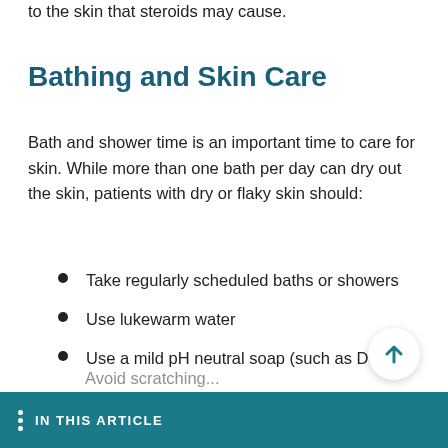to the skin that steroids may cause.
Bathing and Skin Care
Bath and shower time is an important time to care for skin. While more than one bath per day can dry out the skin, patients with dry or flaky skin should:
Take regularly scheduled baths or showers
Use lukewarm water
Use a mild pH neutral soap (such as Dove®)
IN THIS ARTICLE